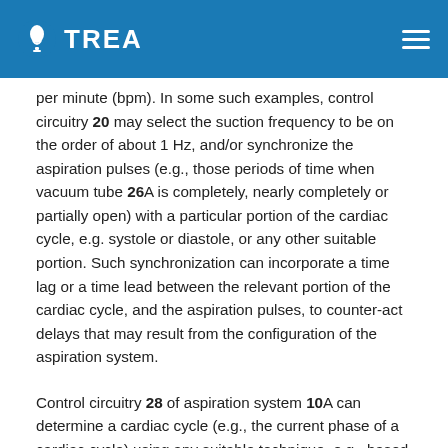TREA
per minute (bpm). In some such examples, control circuitry 20 may select the suction frequency to be on the order of about 1 Hz, and/or synchronize the aspiration pulses (e.g., those periods of time when vacuum tube 26A is completely, nearly completely or partially open) with a particular portion of the cardiac cycle, e.g. systole or diastole, or any other suitable portion. Such synchronization can incorporate a time lag or a time lead between the relevant portion of the cardiac cycle, and the aspiration pulses, to counter-act delays that may result from the configuration of the aspiration system.
Control circuitry 28 of aspiration system 10A can determine a cardiac cycle (e.g., the current phase of a cardiac cycle) using any suitable technique, e.g., based on a physiological signal sensed by sensing circuitry 32. The signal can include, for example, one or more of an ECG, an EGM, a photoplethysmogram (PPG), a heart sound phonocardiogram, or a blood pressure signal. In addition to or instead of